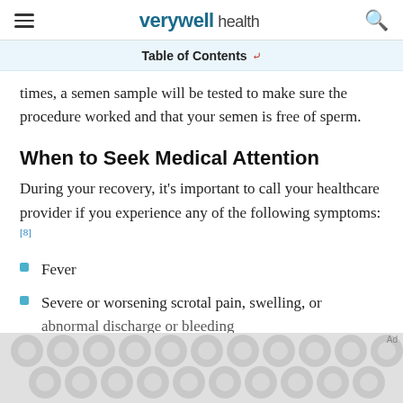verywell health
Table of Contents
times, a semen sample will be tested to make sure the procedure worked and that your semen is free of sperm.
When to Seek Medical Attention
During your recovery, it's important to call your healthcare provider if you experience any of the following symptoms: [8]
Fever
Severe or worsening scrotal pain, swelling, or abnormal discharge or bleeding